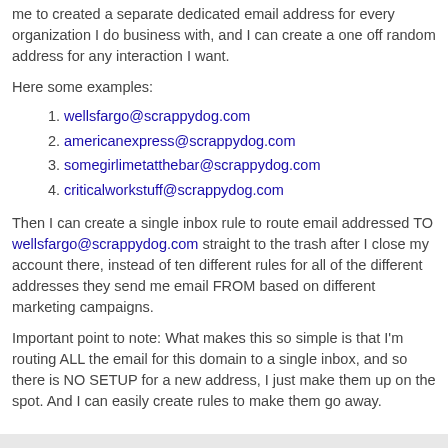me to created a separate dedicated email address for every organization I do business with, and I can create a one off random address for any interaction I want.
Here some examples:
wellsfargo@scrappydog.com
americanexpress@scrappydog.com
somegirlimetatthebar@scrappydog.com
criticalworkstuff@scrappydog.com
Then I can create a single inbox rule to route email addressed TO wellsfargo@scrappydog.com straight to the trash after I close my account there, instead of ten different rules for all of the different addresses they send me email FROM based on different marketing campaigns.
Important point to note: What makes this so simple is that I'm routing ALL the email for this domain to a single inbox, and so there is NO SETUP for a new address, I just make them up on the spot. And I can easily create rules to make them go away.